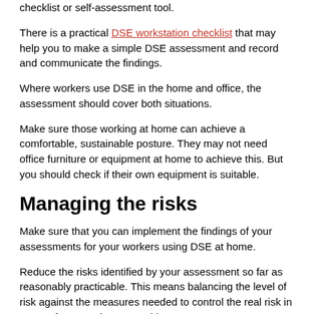checklist or self-assessment tool.
There is a practical DSE workstation checklist that may help you to make a simple DSE assessment and record and communicate the findings.
Where workers use DSE in the home and office, the assessment should cover both situations.
Make sure those working at home can achieve a comfortable, sustainable posture. They may not need office furniture or equipment at home to achieve this. But you should check if their own equipment is suitable.
Managing the risks
Make sure that you can implement the findings of your assessments for your workers using DSE at home.
Reduce the risks identified by your assessment so far as reasonably practicable. This means balancing the level of risk against the measures needed to control the real risk in terms of money, time or trouble.